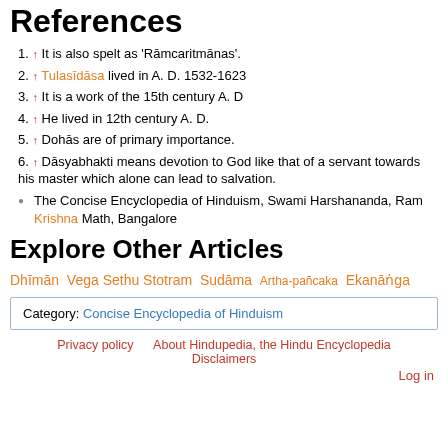References
1. ↑ It is also spelt as 'Rāmcaritmānas'.
2. ↑ Tulasīdāsa lived in A. D. 1532-1623
3. ↑ It is a work of the 15th century A. D
4. ↑ He lived in 12th century A. D.
5. ↑ Dohās are of primary importance.
6. ↑ Dāsyabhakti means devotion to God like that of a servant towards his master which alone can lead to salvation.
• The Concise Encyclopedia of Hinduism, Swami Harshananda, Ram Krishna Math, Bangalore
Explore Other Articles
Dhīmān Vega Sethu Stotram Sudāma Artha-pañcaka Ekanāṅga
Category: Concise Encyclopedia of Hinduism
Privacy policy   About Hindupedia, the Hindu Encyclopedia   Disclaimers
Log in